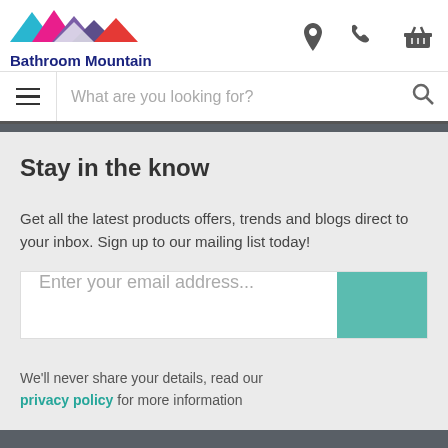[Figure (logo): Bathroom Mountain logo with colorful mountain peaks (cyan, magenta, purple, red) and bold dark blue text 'Bathroom Mountain']
What are you looking for?
Stay in the know
Get all the latest products offers, trends and blogs direct to your inbox. Sign up to our mailing list today!
Enter your email address...
We'll never share your details, read our privacy policy for more information
Useful Links